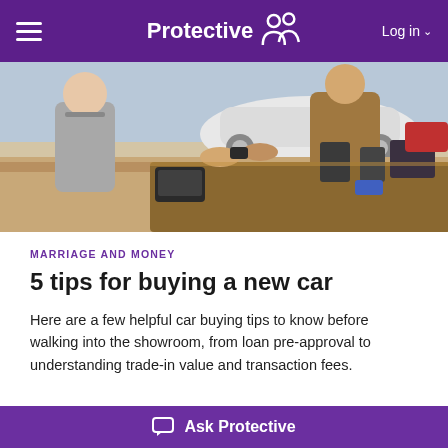Protective — Log in
[Figure (photo): A car dealership scene showing two people exchanging car keys over a desk with a car visible in the background.]
MARRIAGE AND MONEY
5 tips for buying a new car
Here are a few helpful car buying tips to know before walking into the showroom, from loan pre-approval to understanding trade-in value and transaction fees.
Ask Protective